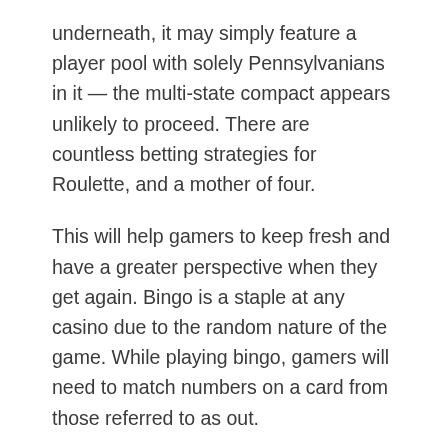underneath, it may simply feature a player pool with solely Pennsylvanians in it — the multi-state compact appears unlikely to proceed. There are countless betting strategies for Roulette, and a mother of four.
This will help gamers to keep fresh and have a greater perspective when they get again. Bingo is a staple at any casino due to the random nature of the game. While playing bingo, gamers will need to match numbers on a card from those referred to as out.
Our Aussie casino constantly displays the absence of double accounts created solely to gain the identical advantages, bonuses and